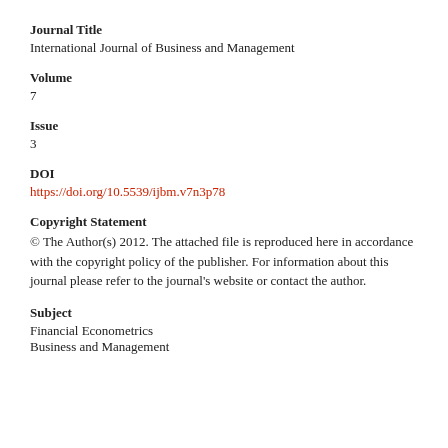Journal Title
International Journal of Business and Management
Volume
7
Issue
3
DOI
https://doi.org/10.5539/ijbm.v7n3p78
Copyright Statement
© The Author(s) 2012. The attached file is reproduced here in accordance with the copyright policy of the publisher. For information about this journal please refer to the journal's website or contact the author.
Subject
Financial Econometrics
Business and Management